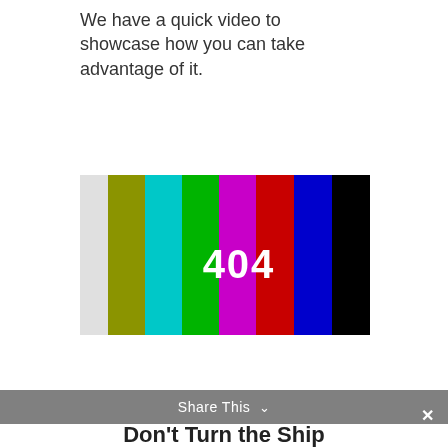We have a quick video to showcase how you can take advantage of it.
[Figure (other): 404 error page video placeholder showing television color test bars (yellow-green, cyan, green, magenta, red, blue, black) with large white '404' text overlaid in the center]
Share This ∨  ×
Don't Turn the Ship